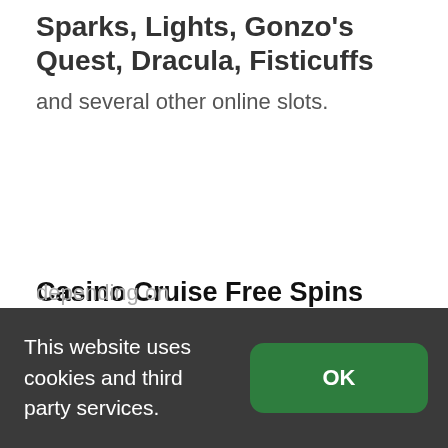Sparks, Lights, Gonzo's Quest, Dracula, Fisticuffs
and several other online slots.
Casino Cruise Free Spins Giveaway
There are also reload bonuses on offer for existing players, the amount will vary
This website uses cookies and third party services.
OK